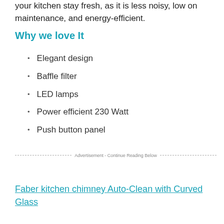your kitchen stay fresh, as it is less noisy, low on maintenance, and energy-efficient.
Why we love It
Elegant design
Baffle filter
LED lamps
Power efficient 230 Watt
Push button panel
Advertisement - Continue Reading Below
Faber kitchen chimney Auto-Clean with Curved Glass